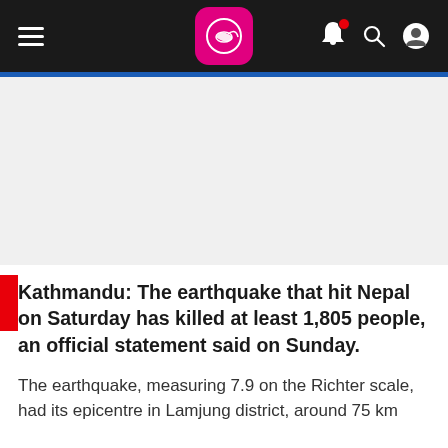[Figure (screenshot): Mobile news app top navigation bar with hamburger menu, pink kangaroo logo, bell notification icon, search icon, and user profile icon on black background]
[Figure (photo): Large image area (appears blank/not loaded) below the navigation bar]
Kathmandu: The earthquake that hit Nepal on Saturday has killed at least 1,805 people, an official statement said on Sunday.
The earthquake, measuring 7.9 on the Richter scale, had its epicentre in Lamjung district, around 75 km